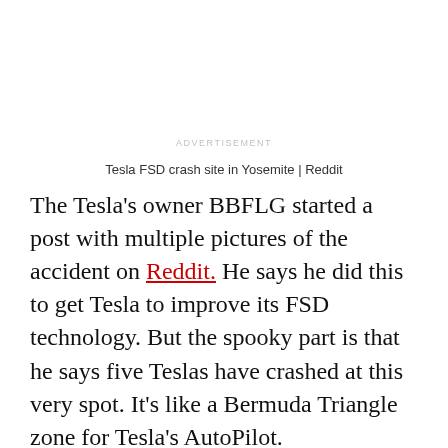ADVERTISEMENT
Tesla FSD crash site in Yosemite | Reddit
The Tesla's owner BBFLG started a post with multiple pictures of the accident on Reddit. He says he did this to get Tesla to improve its FSD technology. But the spooky part is that he says five Teslas have crashed at this very spot. It's like a Bermuda Triangle zone for Tesla's AutoPilot.
ADVERTISEMENT